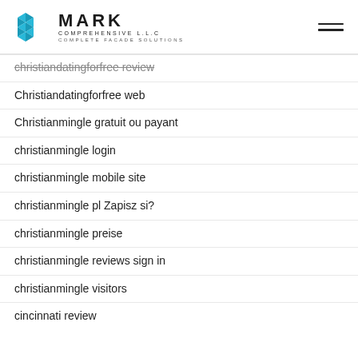MARK COMPREHENSIVE L.L.C COMPLETE FACADE SOLUTIONS
christiandatingforfree review
Christiandatingforfree web
Christianmingle gratuit ou payant
christianmingle login
christianmingle mobile site
christianmingle pl Zapisz si?
christianmingle preise
christianmingle reviews sign in
christianmingle visitors
cincinnati review